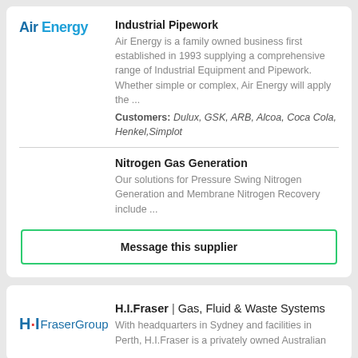[Figure (logo): Air Energy logo in blue text]
Industrial Pipework
Air Energy is a family owned business first established in 1993 supplying a comprehensive range of Industrial Equipment and Pipework. Whether simple or complex, Air Energy will apply the ...
Customers: Dulux, GSK, ARB, Alcoa, Coca Cola, Henkel, Simplot
Nitrogen Gas Generation
Our solutions for Pressure Swing Nitrogen Generation and Membrane Nitrogen Recovery include ...
Message this supplier
[Figure (logo): HI Fraser Group logo]
H.I.Fraser | Gas, Fluid & Waste Systems
With headquarters in Sydney and facilities in Perth, H.I.Fraser is a privately owned Australian